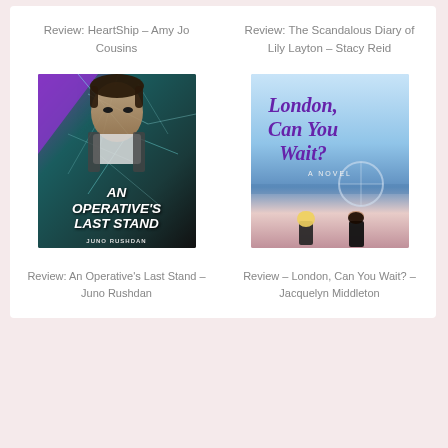Review: HeartShip – Amy Jo Cousins
Review: The Scandalous Diary of Lily Layton – Stacy Reid
[Figure (photo): Book cover of An Operative's Last Stand by Juno Rushdan. Dark background with shattered glass effect and close-up of a man's face. Title text in bold italic white letters at bottom.]
[Figure (photo): Book cover of London, Can You Wait? by Jacquelyn Middleton. Blue sky background with cursive purple title text. Two figures (blonde woman and dark-haired man) viewed from behind at bottom.]
Review: An Operative's Last Stand – Juno Rushdan
Review – London, Can You Wait? – Jacquelyn Middleton